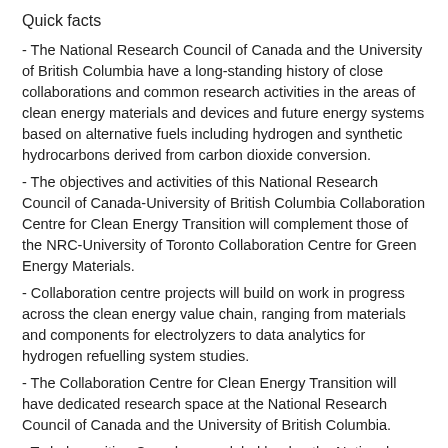Quick facts
- The National Research Council of Canada and the University of British Columbia have a long-standing history of close collaborations and common research activities in the areas of clean energy materials and devices and future energy systems based on alternative fuels including hydrogen and synthetic hydrocarbons derived from carbon dioxide conversion.
- The objectives and activities of this National Research Council of Canada-University of British Columbia Collaboration Centre for Clean Energy Transition will complement those of the NRC-University of Toronto Collaboration Centre for Green Energy Materials.
- Collaboration centre projects will build on work in progress across the clean energy value chain, ranging from materials and components for electrolyzers to data analytics for hydrogen refuelling system studies.
- The Collaboration Centre for Clean Energy Transition will have dedicated research space at the National Research Council of Canada and the University of British Columbia.
- To help position Canada as a global leader, the National Research Council of Canada is increasing its collaboration with regional ecosystems, universities, polytechnic institutions and colleges by establishing collaboration centres across the country.
- To foster collaboration, the National Research Council of Canada is co-locating researchers and equipment with partners to create